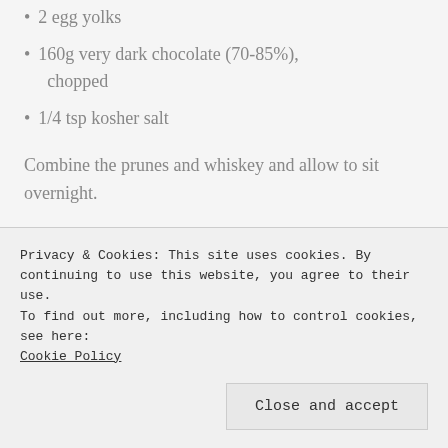2 egg yolks
160g very dark chocolate (70-85%), chopped
1/4 tsp kosher salt
Combine the prunes and whiskey and allow to sit overnight.
The next day, warm the milk and cream in a saucepan until steaming. Whisk together the egg yolks in a bowl and temper by gradually
Privacy & Cookies: This site uses cookies. By continuing to use this website, you agree to their use.
To find out more, including how to control cookies, see here:
Cookie Policy
Close and accept